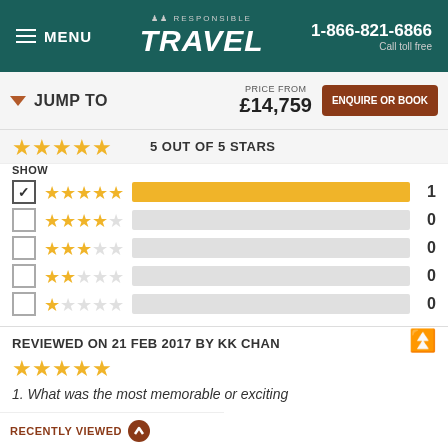MENU | Responsible Travel | 1-866-821-6866 Call toll free
JUMP TO | PRICE FROM £14,759 | ENQUIRE OR BOOK
5 OUT OF 5 STARS
SHOW
[Figure (bar-chart): Star rating distribution]
REVIEWED ON 21 FEB 2017 BY KK CHAN
1. What was the most memorable or exciting
RECENTLY VIEWED